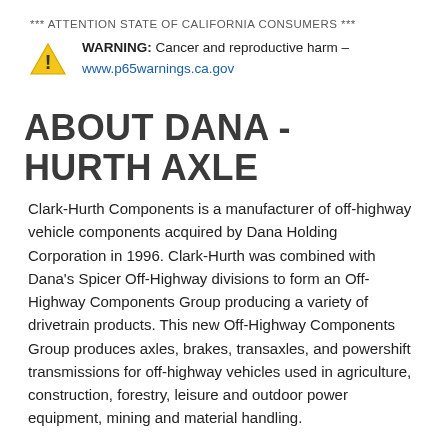*** ATTENTION STATE OF CALIFORNIA CONSUMERS ***
WARNING: Cancer and reproductive harm – www.p65warnings.ca.gov
ABOUT DANA - HURTH AXLE
Clark-Hurth Components is a manufacturer of off-highway vehicle components acquired by Dana Holding Corporation in 1996. Clark-Hurth was combined with Dana's Spicer Off-Highway divisions to form an Off-Highway Components Group producing a variety of drivetrain products. This new Off-Highway Components Group produces axles, brakes, transaxles, and powershift transmissions for off-highway vehicles used in agriculture, construction, forestry, leisure and outdoor power equipment, mining and material handling.